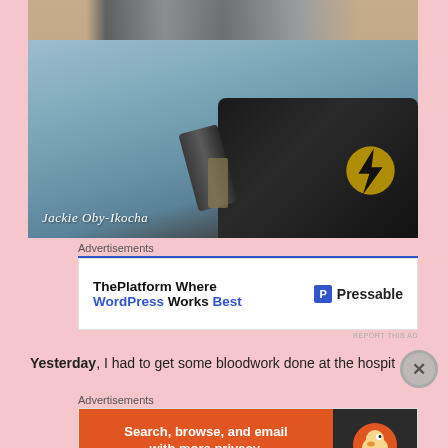[Figure (photo): Photo of a bag with a lightning bolt logo on a car floor/seat area, with sandaled feet visible at top. Watermark text 'Jackie Oby-Ikocha' in white italic script at bottom left.]
Advertisements
[Figure (infographic): Advertisement banner: 'ThePlatform Where WordPress Works Best' with Pressable logo on right side, blue top border.]
REPORT THIS AD
Yesterday, I had to get some bloodwork done at the hospital and
Advertisements
[Figure (infographic): DuckDuckGo advertisement: 'Search, browse, and email with more privacy. All in One Free App' on orange background with DuckDuckGo logo on dark right panel.]